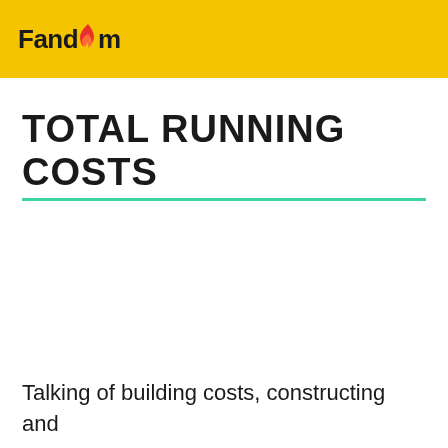Fandom
TOTAL RUNNING COSTS
Talking of building costs, constructing and